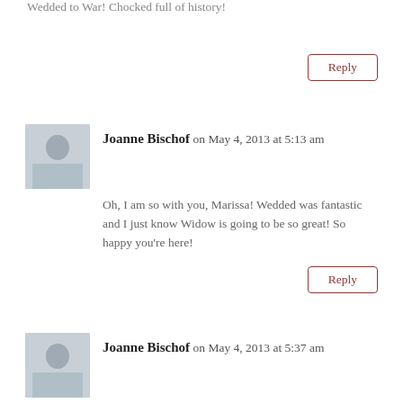Wedded to War! Chocked full of history!
Reply
Joanne Bischof on May 4, 2013 at 5:13 am
Oh, I am so with you, Marissa! Wedded was fantastic and I just know Widow is going to be so great! So happy you're here!
Reply
Joanne Bischof on May 4, 2013 at 5:37 am
SO happy to announce the winner of the Wedded to War inspired giveaway... Elizabeth Dent!! Congratulations, Elizabeth!! Thank you to everyone who visited with Jocelyn and I. You all are such a blessing!